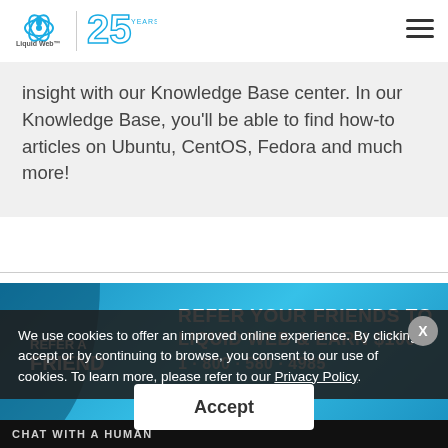Liquid Web 25 Years
insight with our Knowledge Base center. In our Knowledge Base, you'll be able to find how-to articles on Ubuntu, CentOS, Fedora and much more!
[Figure (photo): Promotional banner: Refer your friends to Liquid Web & earn $100. Features palm trees on a blue background.]
We use cookies to offer an improved online experience. By clicking accept or by continuing to browse, you consent to our use of cookies. To learn more, please refer to our Privacy Policy.
Accept
CHAT WITH A HUMAN